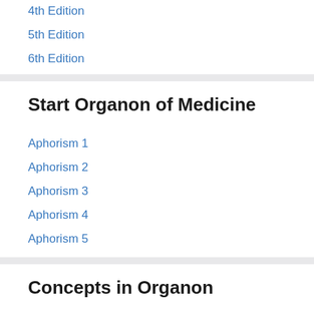4th Edition
5th Edition
6th Edition
Start Organon of Medicine
Aphorism 1
Aphorism 2
Aphorism 3
Aphorism 4
Aphorism 5
Concepts in Organon